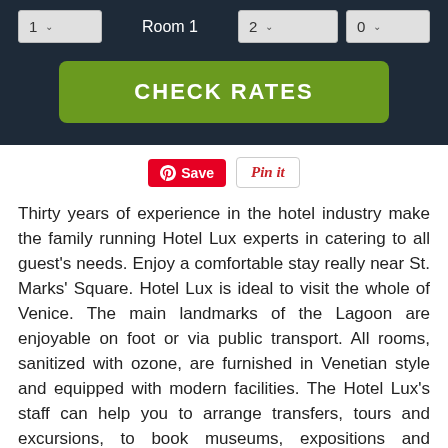[Figure (screenshot): Hotel booking widget with room number selector showing '1', Room 1 label, adults selector showing '2', children selector showing '0', and a green CHECK RATES button on dark navy background]
[Figure (other): Pinterest Save and Pin It buttons]
Thirty years of experience in the hotel industry make the family running Hotel Lux experts in catering to all guest's needs. Enjoy a comfortable stay really near St. Marks' Square. Hotel Lux is ideal to visit the whole of Venice. The main landmarks of the Lagoon are enjoyable on foot or via public transport. All rooms, sanitized with ozone, are furnished in Venetian style and equipped with modern facilities. The Hotel Lux's staff can help you to arrange transfers, tours and excursions, to book museums, expositions and concerts, to reserve a restaurant or a flight.